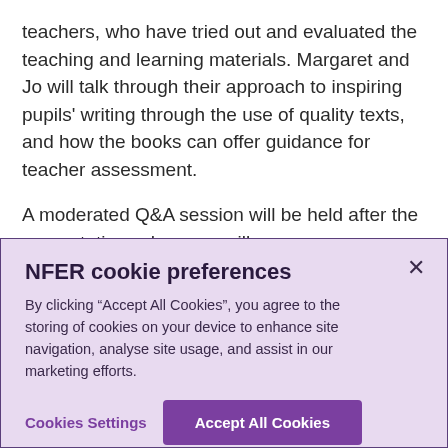teachers, who have tried out and evaluated the teaching and learning materials. Margaret and Jo will talk through their approach to inspiring pupils' writing through the use of quality texts, and how the books can offer guidance for teacher assessment.

A moderated Q&A session will be held after the presentation, where we will encourage participants to ask questions.

The event is managed in accordance with our
NFER cookie preferences

By clicking “Accept All Cookies”, you agree to the storing of cookies on your device to enhance site navigation, analyse site usage, and assist in our marketing efforts.

Cookies Settings   Accept All Cookies